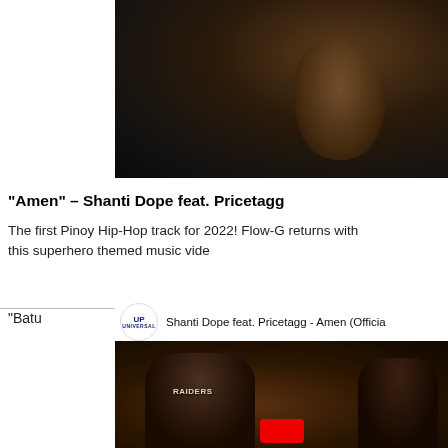[Figure (screenshot): Dark music video still showing a person in dark clothing with hand raised against dark background]
"Amen" – Shanti Dope feat. Pricetagg
The first Pinoy Hip-Hop track for 2022! Flow-G returns with this superhero themed music vide
"Batu
[Figure (screenshot): YouTube video embed showing Shanti Dope feat. Pricetagg - Amen (Official) with Universal Records logo and two artists in scene]